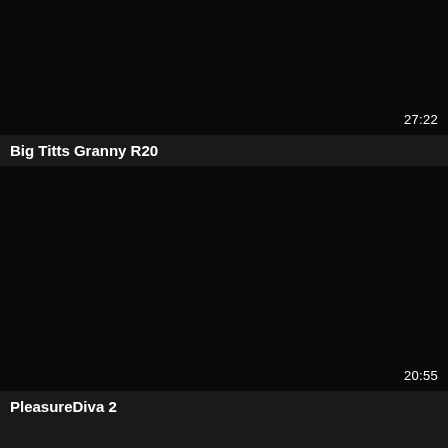[Figure (screenshot): Dark/black video thumbnail placeholder]
27:22
Big Titts Granny R20
[Figure (screenshot): Dark/black video thumbnail placeholder]
20:55
PleasureDiva 2